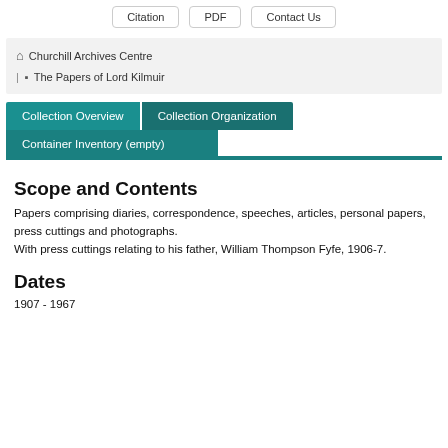Citation | PDF | Contact Us
Churchill Archives Centre | The Papers of Lord Kilmuir
Collection Overview | Collection Organization | Container Inventory (empty)
Scope and Contents
Papers comprising diaries, correspondence, speeches, articles, personal papers, press cuttings and photographs.
With press cuttings relating to his father, William Thompson Fyfe, 1906-7.
Dates
1907 - 1967